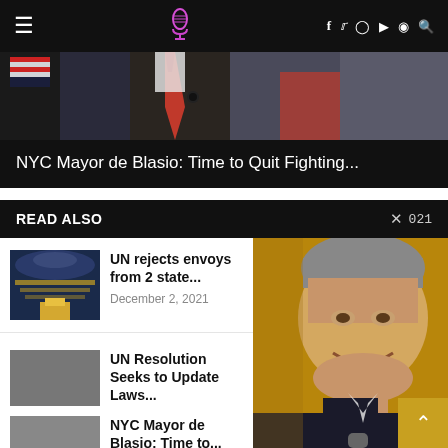Navigation bar with hamburger menu, microphone logo, and social icons (f, twitter, instagram, youtube, spotify, search)
[Figure (photo): Hero image strip showing a person in a suit with red tie, dark background]
NYC Mayor de Blasio: Time to Quit Fighting...
READ ALSO  × 021
UN rejects envoys from 2 state... — December 2, 2021
UN Resolution Seeks to Update Laws... — November 29, 2021
NYC Mayor de Blasio: Time to... — June 7, 2021
[Figure (photo): Close-up photo of a smiling man (Mayor de Blasio) with golden/brown background]